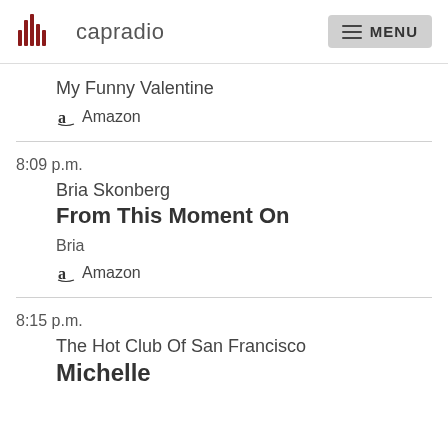capradio  MENU
My Funny Valentine
Amazon
8:09 p.m.
Bria Skonberg
From This Moment On
Bria
Amazon
8:15 p.m.
The Hot Club Of San Francisco
Michelle